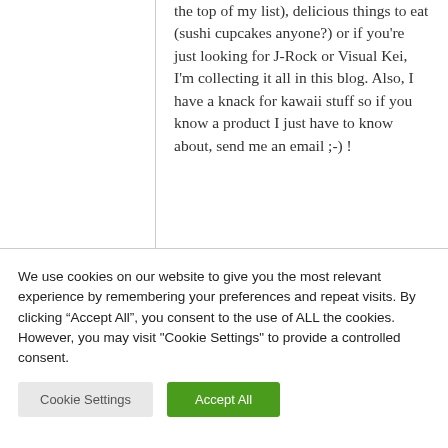the top of my list), delicious things to eat (sushi cupcakes anyone?) or if you're just looking for J-Rock or Visual Kei, I'm collecting it all in this blog. Also, I have a knack for kawaii stuff so if you know a product I just have to know about, send me an email ;-) !
We use cookies on our website to give you the most relevant experience by remembering your preferences and repeat visits. By clicking “Accept All”, you consent to the use of ALL the cookies. However, you may visit "Cookie Settings" to provide a controlled consent.